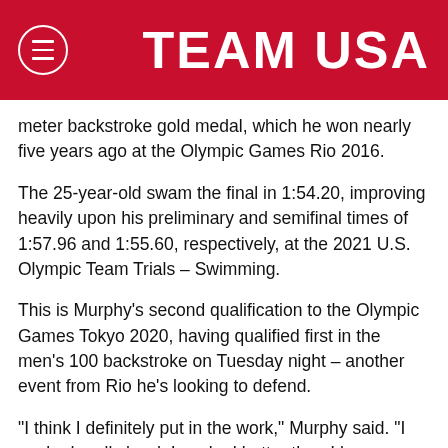TEAM USA
meter backstroke gold medal, which he won nearly five years ago at the Olympic Games Rio 2016.
The 25-year-old swam the final in 1:54.20, improving heavily upon his preliminary and semifinal times of 1:57.96 and 1:55.60, respectively, at the 2021 U.S. Olympic Team Trials – Swimming.
This is Murphy's second qualification to the Olympic Games Tokyo 2020, having qualified first in the men's 100 backstroke on Tuesday night – another event from Rio he's looking to defend.
“I think I definitely put in the work,” Murphy said. “I worked really hard. I worked better than I have any other year. So, I’m really excited to get that double taper going – I